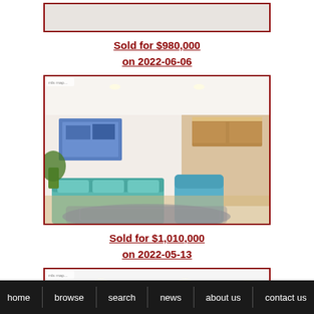[Figure (photo): Partial top of a property photo, cropped — white/light interior, top portion only visible]
Sold for $980,000
on 2022-06-06
[Figure (photo): Interior living room photo: modern furnishings with teal/blue sofa and chairs, blue patterned rug, artwork on wall, open kitchen in background]
Sold for $1,010,000
on 2022-05-13
[Figure (photo): Interior hallway photo: long white corridor with dark carpet/flooring, a modern white door on the right side with a keypad entry]
home   browse   search   news   about us   contact us